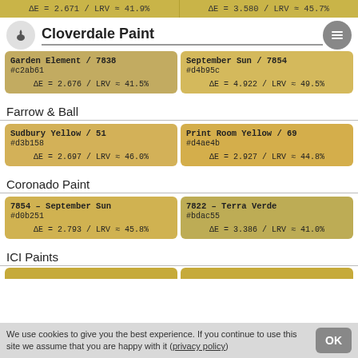ΔE = 2.671 / LRV ≈ 41.9%  |  ΔE = 3.580 / LRV ≈ 45.7%
Cloverdale Paint
| Paint 1 | Paint 2 |
| --- | --- |
| Garden Element / 7838
#c2ab61
ΔE = 2.676 / LRV ≈ 41.5% | September Sun / 7854
#d4b95c
ΔE = 4.922 / LRV ≈ 49.5% |
Farrow & Ball
| Paint 1 | Paint 2 |
| --- | --- |
| Sudbury Yellow / 51
#d3b158
ΔE = 2.697 / LRV ≈ 46.0% | Print Room Yellow / 69
#d4ae4b
ΔE = 2.927 / LRV ≈ 44.8% |
Coronado Paint
| Paint 1 | Paint 2 |
| --- | --- |
| 7854 – September Sun
#d0b251
ΔE = 2.793 / LRV ≈ 45.8% | 7822 – Terra Verde
#bdac55
ΔE = 3.386 / LRV ≈ 41.0% |
ICI Paints
We use cookies to give you the best experience. If you continue to use this site we assume that you are happy with it (privacy policy)